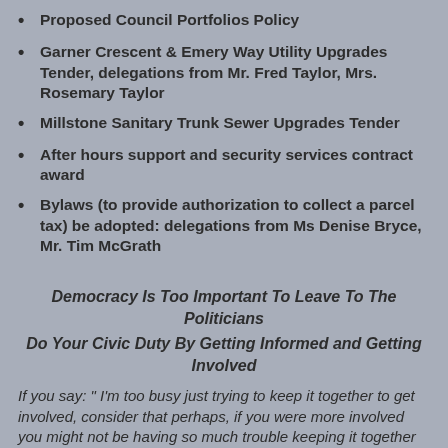Proposed Council Portfolios Policy
Garner Crescent & Emery Way Utility Upgrades Tender, delegations from Mr. Fred Taylor, Mrs. Rosemary Taylor
Millstone Sanitary Trunk Sewer Upgrades Tender
After hours support and security services contract award
Bylaws (to provide authorization to collect a parcel tax) be adopted: delegations from Ms Denise Bryce, Mr. Tim McGrath
Democracy Is Too Important To Leave To The Politicians
Do Your Civic Duty By Getting Informed and Getting Involved
If you say: " I'm too busy just trying to keep it together to get involved, consider that perhaps, if you were more involved you might not be having so much trouble keeping it together